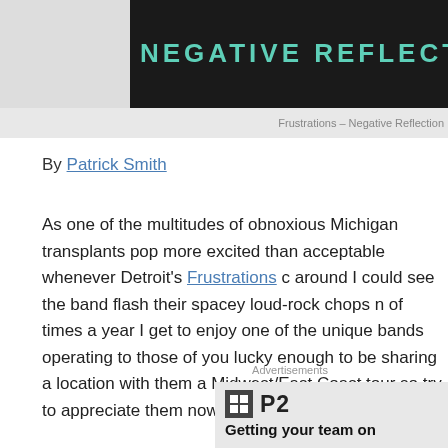[Figure (photo): Dark header image with 'NEGATIVE REFLECT' text in teal/green stylized font on dark background]
Frustrations – Negative Reflection
By Patrick Smith
As one of the multitudes of obnoxious Michigan transplants pop more excited than acceptable whenever Detroit's Frustrations c around I could see the band flash their spacey loud-rock chops n of times a year I get to enjoy one of the unique bands operating to those of you lucky enough to be sharing a location with them a Midwest/East Coast tour so try to appreciate them now before
Advertisements
[Figure (logo): P2 advertisement logo with grid icon and 'Getting your team on' tagline]